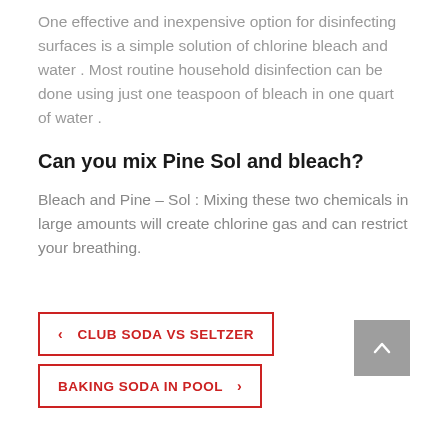One effective and inexpensive option for disinfecting surfaces is a simple solution of chlorine bleach and water . Most routine household disinfection can be done using just one teaspoon of bleach in one quart of water .
Can you mix Pine Sol and bleach?
Bleach and Pine – Sol : Mixing these two chemicals in large amounts will create chlorine gas and can restrict your breathing.
‹  CLUB SODA VS SELTZER
BAKING SODA IN POOL  ›
Leave a Reply